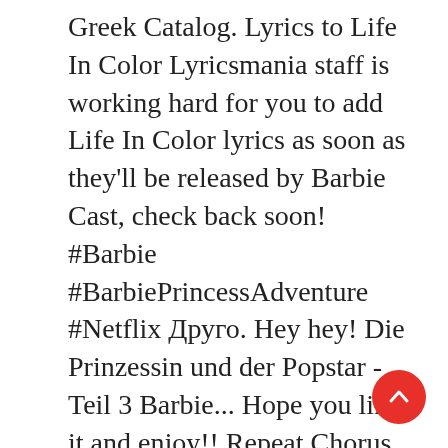Greek Catalog. Lyrics to Life In Color Lyricsmania staff is working hard for you to add Life In Color lyrics as soon as they'll be released by Barbie Cast, check back soon! #Barbie #BarbiePrincessAdventure #Netflix Друго. Hey hey! Die Prinzessin und der Popstar - Teil 3 Barbie... Hope you like it and enjoy!! Repeat Chorus Come on Barbie, let's go party! Hey hey! You can brush my hair, undress me everywhere Imagination, life is your creation I'm a Barbie girl in the Barbie world Life in plastic, it's fantastic! Come on, Barbie, let's go party! Amelia and Barbie sing the song when they meet. For over 61 years, Barbie has led girls on a path to self-discovery and helped them to imagine the possibilities. Sad. So bold Now we're bright
[Figure (other): Red circular scroll-to-top button with upward chevron arrow]